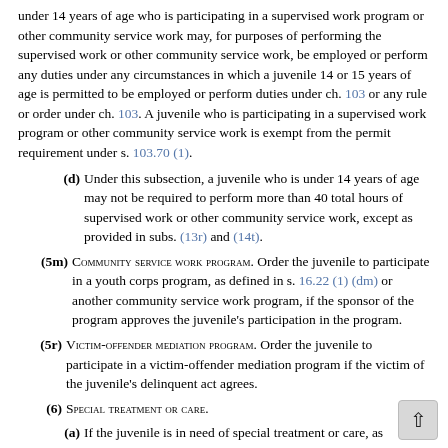under 14 years of age who is participating in a supervised work program or other community service work may, for purposes of performing the supervised work or other community service work, be employed or perform any duties under any circumstances in which a juvenile 14 or 15 years of age is permitted to be employed or perform duties under ch. 103 or any rule or order under ch. 103. A juvenile who is participating in a supervised work program or other community service work is exempt from the permit requirement under s. 103.70 (1).
(d) Under this subsection, a juvenile who is under 14 years of age may not be required to perform more than 40 total hours of supervised work or other community service work, except as provided in subs. (13r) and (14t).
(5m) Community Service Work Program. Order the juvenile to participate in a youth corps program, as defined in s. 16.22 (1) (dm) or another community service work program, if the sponsor of the program approves the juvenile's participation in the program.
(5r) Victim-Offender Mediation Program. Order the juvenile to participate in a victim-offender mediation program if the victim of the juvenile's delinquent act agrees.
(6) Special Treatment or Care.
(a) If the juvenile is in need of special treatment or care, as identified in an evaluation under s. 938.295 and the repo... under s. 938.33 (1), order the juvenile's parent to provide...